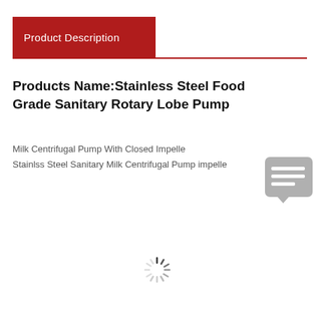Product Description
Products Name:Stainless Steel Food Grade Sanitary Rotary Lobe Pump
Milk Centrifugal Pump With Closed Impelle
Stainlss Steel Sanitary Milk Centrifugal Pump impelle
[Figure (illustration): Chat/message icon, rounded rectangle with speech bubble lines, grey color]
[Figure (illustration): Loading spinner icon, circular dashed lines radiating outward]